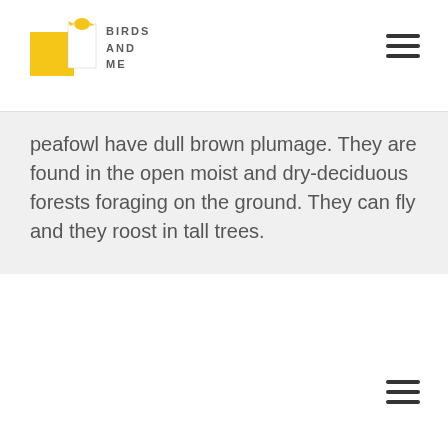Birds And Me
peafowl have dull brown plumage. They are found in the open moist and dry-deciduous forests foraging on the ground. They can fly and they roost in tall trees.